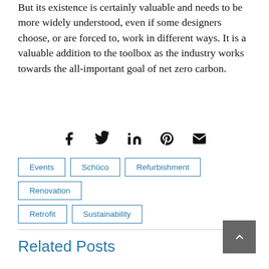But its existence is certainly valuable and needs to be more widely understood, even if some designers choose, or are forced to, work in different ways. It is a valuable addition to the toolbox as the industry works towards the all-important goal of net zero carbon.
[Figure (infographic): Social sharing icons: Facebook, Twitter, LinkedIn, Pinterest, Email]
Events
Schüco
Refurbishment
Renovation
Retrofit
Sustainability
Related Posts